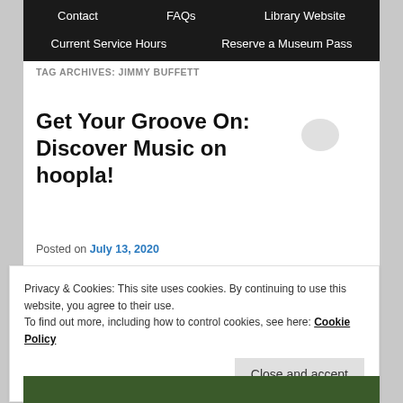Contact   FAQs   Library Website   Current Service Hours   Reserve a Museum Pass
TAG ARCHIVES: JIMMY BUFFETT
Get Your Groove On: Discover Music on hoopla!
Posted on July 13, 2020
Privacy & Cookies: This site uses cookies. By continuing to use this website, you agree to their use.
To find out more, including how to control cookies, see here: Cookie Policy